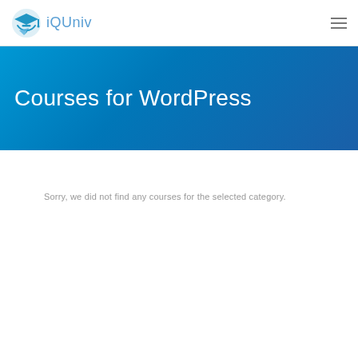iQUniv
Courses for WordPress
Sorry, we did not find any courses for the selected category.